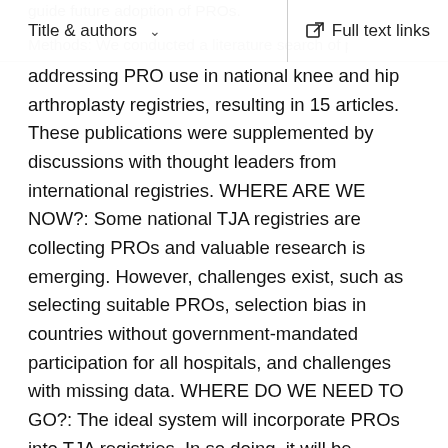Title & authors   Full text links
addressing PRO use in national knee and hip arthroplasty registries, resulting in 15 articles. These publications were supplemented by discussions with thought leaders from international registries. WHERE ARE WE NOW?: Some national TJA registries are collecting PROs and valuable research is emerging. However, challenges exist, such as selecting suitable PROs, selection bias in countries without government-mandated participation for all hospitals, and challenges with missing data. WHERE DO WE NEED TO GO?: The ideal system will incorporate PROs into TJA registries. In so doing, it will be important to choose suitable PROs and develop innovative methods to collect PROs to ensure complete data and sustainability. HOW DO WE GET THERE?: New methods are required to meet the challenges related to registry design, logistics of PRO collection, and registry cost and sustainability.